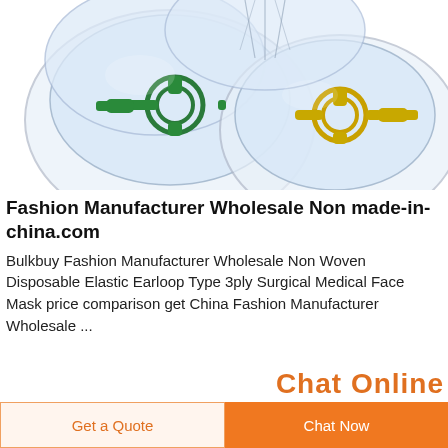[Figure (photo): Multiple transparent silicone/PVC anesthesia face masks with colored connectors (green, yellow) arranged on a white background. Product photo for medical/surgical masks.]
Fashion Manufacturer Wholesale Non made-in-china.com
Bulkbuy Fashion Manufacturer Wholesale Non Woven Disposable Elastic Earloop Type 3ply Surgical Medical Face Mask price comparison get China Fashion Manufacturer Wholesale ...
Chat Online
Get a Quote
Chat Now